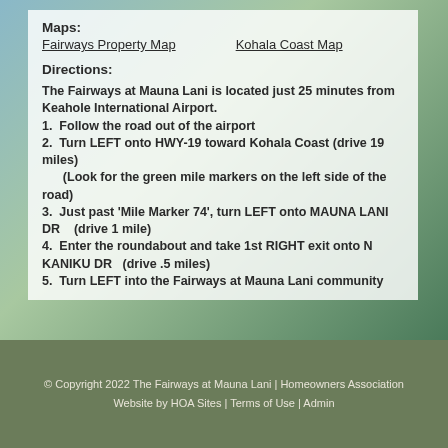Maps:
Fairways Property Map    Kohala Coast Map
Directions:
The Fairways at Mauna Lani is located just 25 minutes from Keahole International Airport.
1.  Follow the road out of the airport
2.  Turn LEFT onto HWY-19 toward Kohala Coast (drive 19 miles)
      (Look for the green mile markers on the left side of the road)
3.  Just past 'Mile Marker 74', turn LEFT onto MAUNA LANI DR    (drive 1 mile)
4.  Enter the roundabout and take 1st RIGHT exit onto N KANIKU DR   (drive .5 miles)
5.  Turn LEFT into the Fairways at Mauna Lani community
© Copyright 2022 The Fairways at Mauna Lani | Homeowners Association
Website by HOA Sites | Terms of Use | Admin